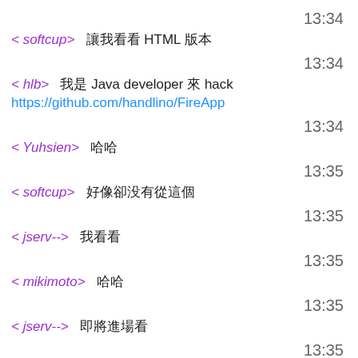13:34
< softcup>          HTML
13:34
< hlb>    Java developer   hack https://github.com/handlino/FireApp
13:34
< Yuhsien>
13:35
< softcup>
13:35
< jserv-->
13:35
< mikimoto>
13:35
< jserv-->
13:35
< softcup>
13:36